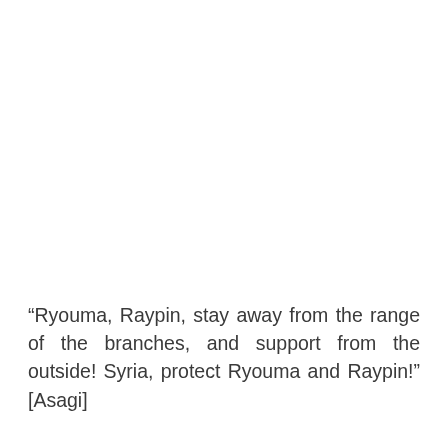“Ryouma, Raypin, stay away from the range of the branches, and support from the outside! Syria, protect Ryouma and Raypin!” [Asagi]